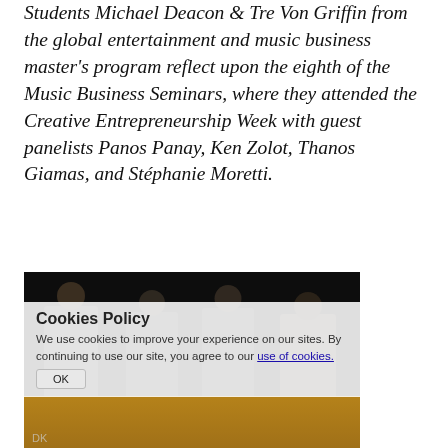Students Michael Deacon & Tre Von Griffin from the global entertainment and music business master's program reflect upon the eighth of the Music Business Seminars, where they attended the Creative Entrepreneurship Week with guest panelists Panos Panay, Ken Zolot, Thanos Giamas, and Stéphanie Moretti.
[Figure (photo): Panel discussion on a stage with four seated panelists in front of a dark backdrop, on a wooden gym floor. A cookies policy overlay appears on top of the image.]